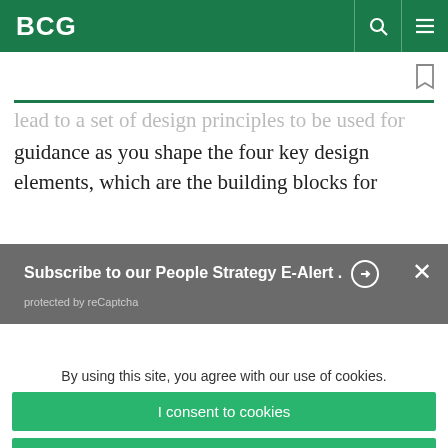BCG
lead to a set of design principles to be used for guidance as you shape the four key design elements, which are the building blocks for
Subscribe to our People Strategy E-Alert. protected by reCaptcha
By using this site, you agree with our use of cookies. I consent to cookies Want to know more? Read our Cookie Policy